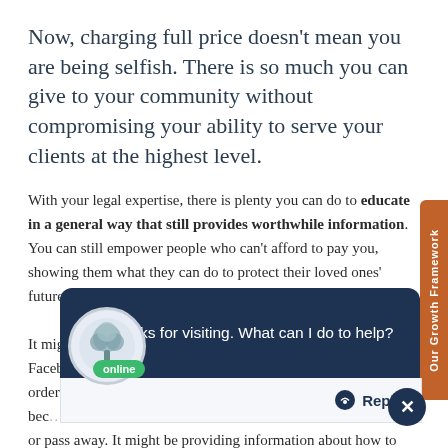Now, charging full price doesn't mean you are being selfish. There is so much you can give to your community without compromising your ability to serve your clients at the highest level.
With your legal expertise, there is plenty you can do to educate in a general way that still provides worthwhile information. You can still empower people who can't afford to pay you, showing them what they can do to protect their loved ones' futures during these times.
It might be w… Health Care Directive. It might be making a Facebook post about how to take inventory of one's assets in order to communicate where they are to one's family, if they become or pass away. It might be providing information about how to
[Figure (screenshot): Chat popup overlay with dark navy header saying 'Hi, thanks for visiting. What can I do to help?' with a tree logo avatar showing 'online' badge, and a Reply button area below with X close button]